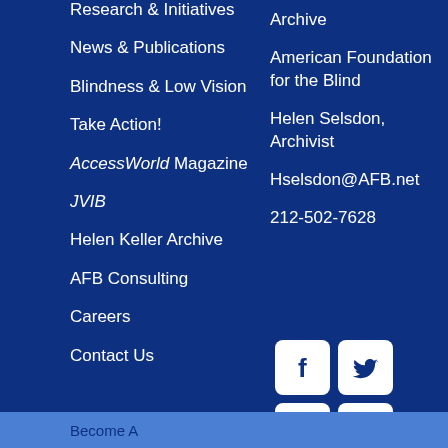Research & Initiatives
News & Publications
Blindness & Low Vision
Take Action!
AccessWorld Magazine
JVIB
Helen Keller Archive
AFB Consulting
Careers
Contact Us
Archive
American Foundation for the Blind
Helen Selsdon, Archivist
Hselsdon@AFB.net
212-502-7628
[Figure (logo): Social media icons: Facebook, Twitter, LinkedIn, YouTube]
Become A